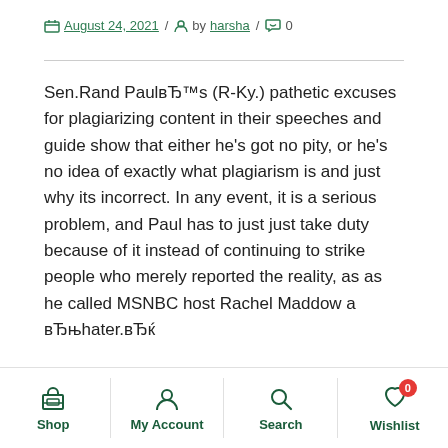August 24, 2021 / by harsha / 0
Sen.Rand PaulвЂ™s (R-Ky.) pathetic excuses for plagiarizing content in their speeches and guide show that either he's got no pity, or he's no idea of exactly what plagiarism is and just why its incorrect. In any event, it is a serious problem, and Paul has to just just take duty because of it instead of continuing to strike people who merely reported the reality, as as he called MSNBC host Rachel Maddow a вЂњhater.вЂќ
In a job interview with Fusion.net soon after Maddow caught him raising through the Wikipedia page concerning the film Gattaca, Paul said, вЂњI offered
Shop  My Account  Search  Wishlist 0